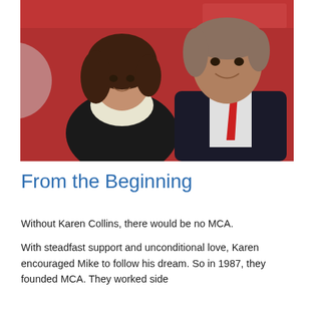[Figure (photo): A man and a woman posing together smiling in front of a red background. The woman has short curly dark hair and is wearing a black outfit with a white lace collar. The man is tall with gray/brown hair, wearing a dark suit with a red tie and white shirt.]
From the Beginning
Without Karen Collins, there would be no MCA.
With steadfast support and unconditional love, Karen encouraged Mike to follow his dream. So in 1987, they founded MCA. They worked side